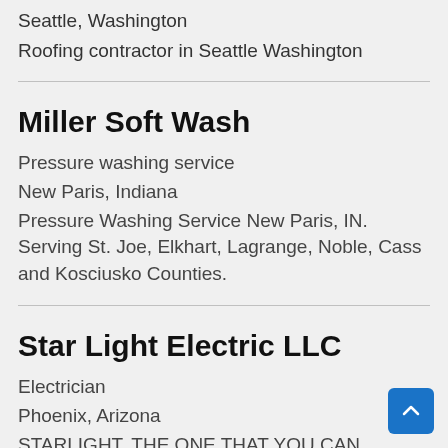Seattle, Washington
Roofing contractor in Seattle Washington
Miller Soft Wash
Pressure washing service
New Paris, Indiana
Pressure Washing Service New Paris, IN. Serving St. Joe, Elkhart, Lagrange, Noble, Cass and Kosciusko Counties.
Star Light Electric LLC
Electrician
Phoenix, Arizona
STARLIGHT, THE ONE THAT YOU CAN...